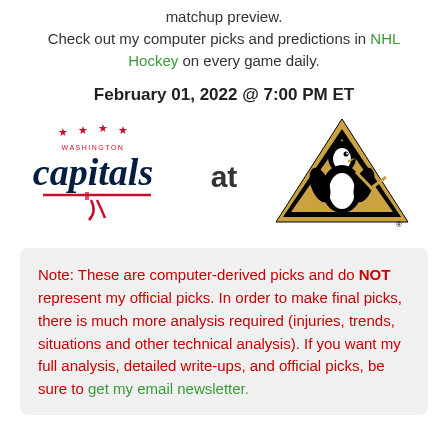matchup preview. Check out my computer picks and predictions in NHL Hockey on every game daily.
February 01, 2022 @ 7:00 PM ET
[Figure (logo): Washington Capitals logo at Pittsburgh Penguins logo matchup graphic]
Note: These are computer-derived picks and do NOT represent my official picks. In order to make final picks, there is much more analysis required (injuries, trends, situations and other technical analysis). If you want my full analysis, detailed write-ups, and official picks, be sure to get my email newsletter.